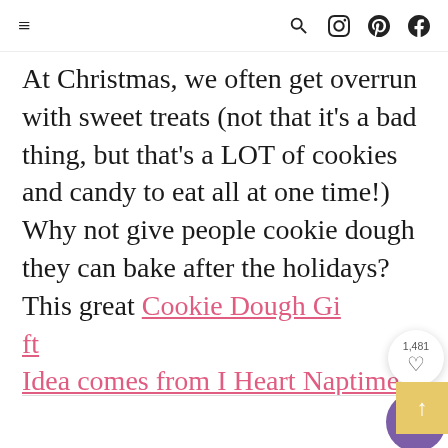≡  🔍 📷 𝐩 𝐟
At Christmas, we often get overrun with sweet treats (not that it's a bad thing, but that's a LOT of cookies and candy to eat all at one time!) Why not give people cookie dough they can bake after the holidays? This great Cookie Dough Gift Idea comes from I Heart Naptime.